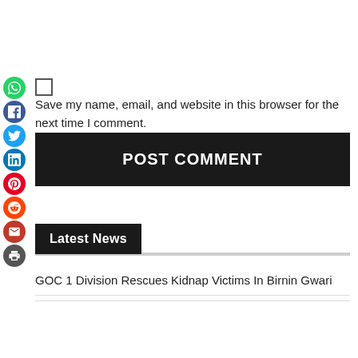Save my name, email, and website in this browser for the next time I comment.
POST COMMENT
Latest News
GOC 1 Division Rescues Kidnap Victims In Birnin Gwari